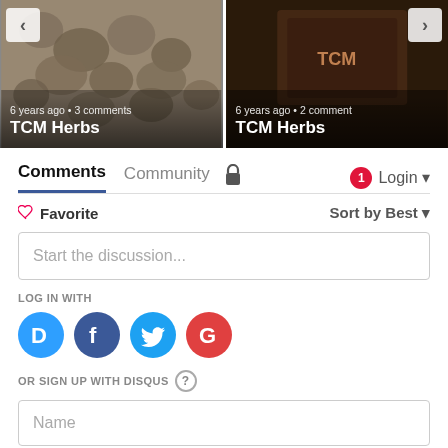[Figure (photo): Two image cards side by side. Left card shows TCM herbs (granular/rocky texture) with overlay text '6 years ago · 3 comments' and title 'TCM Herbs'. Right card shows TCM herbs (dark background, packaged product) with overlay text '6 years ago · 2 comment' and title 'TCM Herbs'. Left navigation arrow on left card, right arrow on right card.]
Comments  Community  Login
Favorite  Sort by Best
Start the discussion...
LOG IN WITH
OR SIGN UP WITH DISQUS
Name